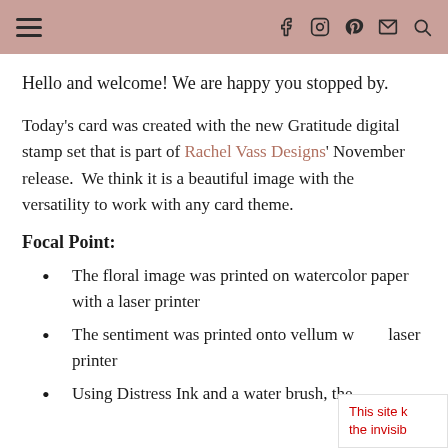Navigation header with hamburger menu and social icons: Facebook, Instagram, Pinterest, Email, Search
Hello and welcome! We are happy you stopped by.
Today's card was created with the new Gratitude digital stamp set that is part of Rachel Vass Designs' November release. We think it is a beautiful image with the versatility to work with any card theme.
Focal Point:
The floral image was printed on watercolor paper with a laser printer
The sentiment was printed onto vellum w laser printer
Using Distress Ink and a water brush, the
This site k the invisib